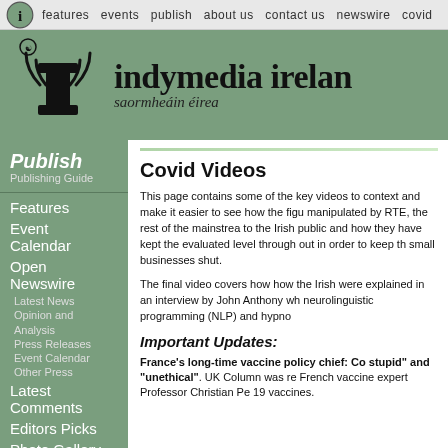features  events  publish  about us  contact us  newswire  covid
[Figure (logo): Indymedia Ireland logo with radio wave icon and triskelion symbol. Site title 'indymedia ireland' and subtitle 'saormheáin éirea']
Publish
Publishing Guide
Features
Event Calendar
Open Newswire
Latest News
Opinion and Analysis
Press Releases
Event Calendar
Other Press
Latest Comments
Editors Picks
Photo Gallery
Covid Videos
This page contains some of the key videos to context and make it easier to see how the figu manipulated by RTE, the rest of the mainstrea to the Irish public and how they have kept the evaluated level through out in order to keep th small businesses shut.
The final video covers how how the Irish were explained in an interview by John Anthony wh neurolinguistic programming (NLP) and hypno
Important Updates:
France's long-time vaccine policy chief: Co stupid" and "unethical". UK Column was re French vaccine expert Professor Christian Pe 19 vaccines.